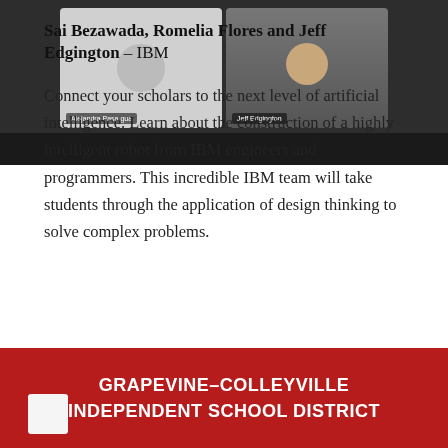[Figure (screenshot): Video conference screenshot showing two participants: Alejandra Pasa gua (left, avatar/silhouette) and Jeff Edgington (right, man in plaid shirt), on a dark background with a dark bottom bar.]
Sai Bezawada, Romelia Flores and Jeff Edgington – IBM
Connect your scholars to the next level of artificial intelligence. Learn about the construction of a highly intelligent robot from IBM engineers and programmers. This incredible IBM team will take students through the application of design thinking to solve complex problems.
GRAPEVINE–COLLEYVILLE INDEPENDENT SCHOOL DISTRICT